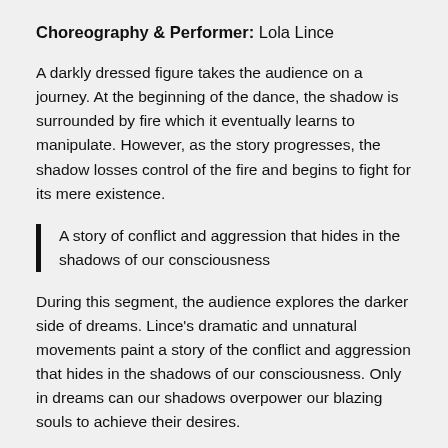Choreography & Performer: Lola Lince
A darkly dressed figure takes the audience on a journey. At the beginning of the dance, the shadow is surrounded by fire which it eventually learns to manipulate. However, as the story progresses, the shadow losses control of the fire and begins to fight for its mere existence.
A story of conflict and aggression that hides in the shadows of our consciousness
During this segment, the audience explores the darker side of dreams. Lince's dramatic and unnatural movements paint a story of the conflict and aggression that hides in the shadows of our consciousness. Only in dreams can our shadows overpower our blazing souls to achieve their desires.